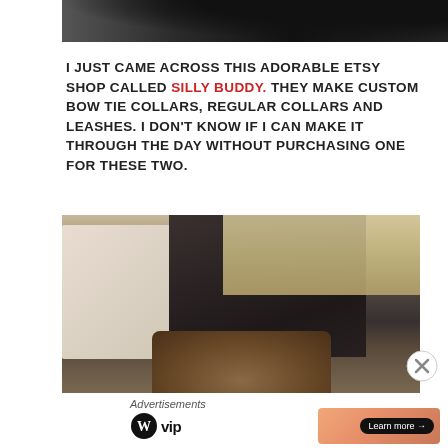[Figure (photo): Partial photo of animals (dog/cat) cropped at top, black and white fur visible]
I JUST CAME ACROSS THIS ADORABLE ETSY SHOP CALLED SILLY BUDDY. THEY MAKE CUSTOM BOW TIE COLLARS, REGULAR COLLARS AND LEASHES. I DON'T KNOW IF I CAN MAKE IT THROUGH THE DAY WITHOUT PURCHASING ONE FOR THESE TWO.
[Figure (photo): Photo of a dog in the backseat of a car, looking out the window, interior car door and seat visible]
Advertisements
[Figure (logo): WordPress VIP logo with circular W icon and 'vip' text]
[Figure (photo): Advertisement banner with orange/peach gradient background and 'Learn more' button]